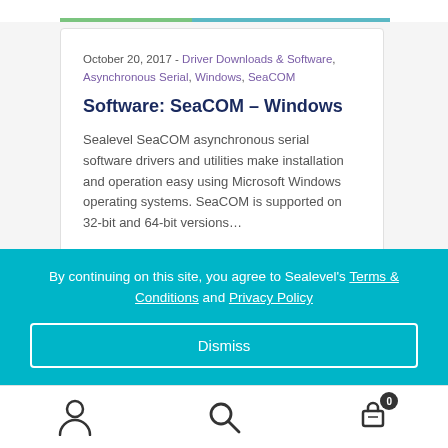October 20, 2017 - Driver Downloads & Software, Asynchronous Serial, Windows, SeaCOM
Software: SeaCOM – Windows
Sealevel SeaCOM asynchronous serial software drivers and utilities make installation and operation easy using Microsoft Windows operating systems. SeaCOM is supported on 32-bit and 64-bit versions...
By continuing on this site, you agree to Sealevel's Terms & Conditions and Privacy Policy
Dismiss